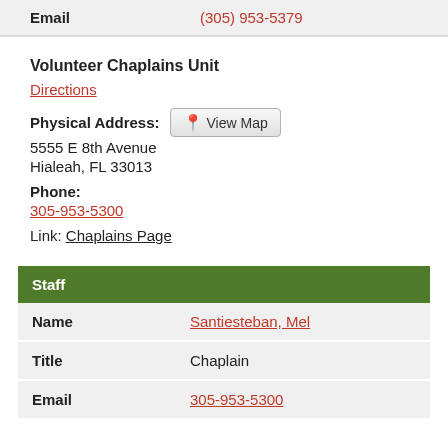| Email | (305) 953-5379 |
| --- | --- |
Volunteer Chaplains Unit
Directions
Physical Address: 5555 E 8th Avenue Hialeah, FL 33013
Phone: 305-953-5300
Link: Chaplains Page
| Staff |
| --- |
| Name | Santiesteban, Mel |
| Title | Chaplain |
| Email | 305-953-5300 |